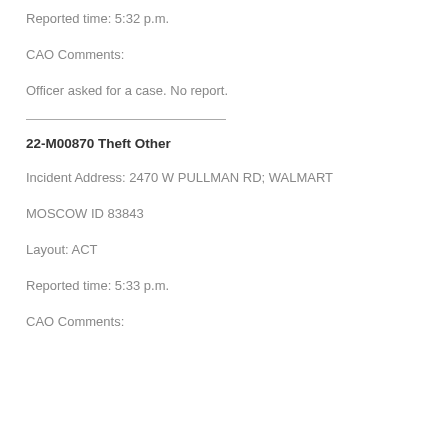Reported time: 5:32 p.m.
CAO Comments:
Officer asked for a case. No report.
22-M00870 Theft Other
Incident Address: 2470 W PULLMAN RD; WALMART
MOSCOW ID 83843
Layout: ACT
Reported time: 5:33 p.m.
CAO Comments: